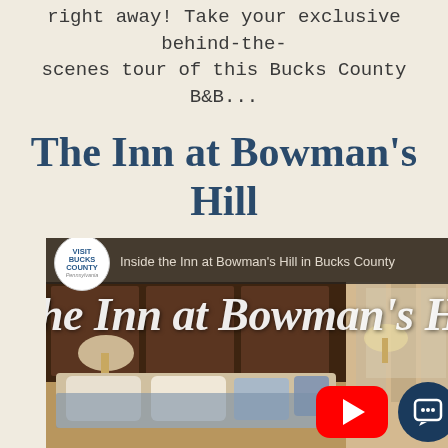right away! Take your exclusive behind-the-scenes tour of this Bucks County B&B...
The Inn at Bowman's Hill
[Figure (screenshot): Video thumbnail screenshot showing 'Inside the Inn at Bowman's Hill in Bucks County' with Visit Bucks County Pennsylvania badge, italic overlay text reading 'he Inn at Bowman's Hi', hotel room photo with dark wood headboard, pillows, and lamps, YouTube play button and chat button overlaid in bottom right corner.]